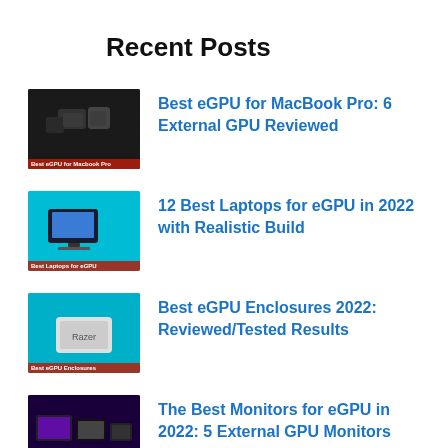Recent Posts
Best eGPU for MacBook Pro: 6 External GPU Reviewed
12 Best Laptops for eGPU in 2022 with Realistic Build
Best eGPU Enclosures 2022: Reviewed/Tested Results
The Best Monitors for eGPU in 2022: 5 External GPU Monitors